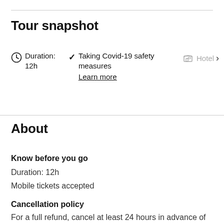Tour snapshot
Duration: 12h
Taking Covid-19 safety measures
Learn more
Hotel >
About
Know before you go
Duration: 12h
Mobile tickets accepted
Cancellation policy
For a full refund, cancel at least 24 hours in advance of the start date of the experience